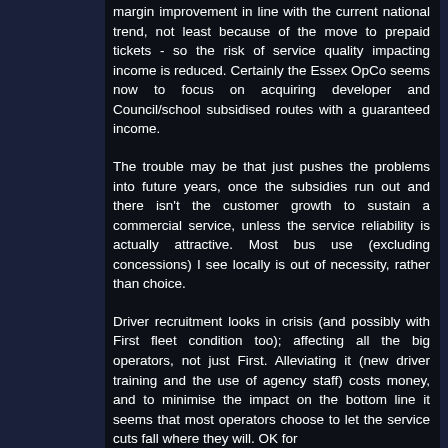margin improvement in line with the current national trend, not least because of the move to prepaid tickets - so the risk of service quality impacting income is reduced. Certainly the Essex OpCo seems now to focus on acquiring developer and Council/school subsidised routes with a guaranteed income.
The trouble may be that just pushes the problems into future years, once the subsidies run out and there isn't the customer growth to sustain a commercial service, unless the service reliability is actually attractive. Most bus use (excluding concessions) I see locally is out of necessity, rather than choice.
Driver recruitment looks in crisis (and possibly with First fleet condition too); affecting all the big operators, not just First. Alleviating it (new driver training and the use of agency staff) costs money, and to minimise the impact on the bottom line it seems that most operators choose to let the service cuts fall where they will. OK for